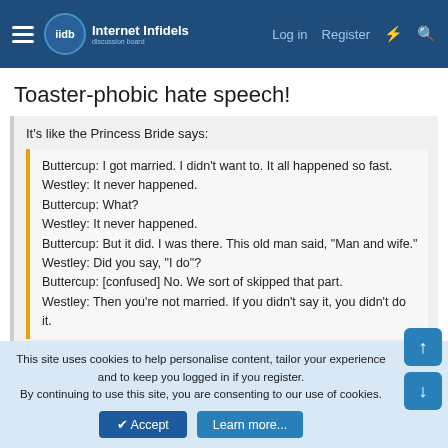Internet Infidels — Log in  Register
Toaster-phobic hate speech!
It's like the Princess Bride says:
Buttercup: I got married. I didn't want to. It all happened so fast.
Westley: It never happened.
Buttercup: What?
Westley: It never happened.
Buttercup: But it did. I was there. This old man said, "Man and wife."
Westley: Did you say, "I do"?
Buttercup: [confused] No. We sort of skipped that part.
Westley: Then you're not married. If you didn't say it, you didn't do it.
This site uses cookies to help personalise content, tailor your experience and to keep you logged in if you register.
By continuing to use this site, you are consenting to our use of cookies.